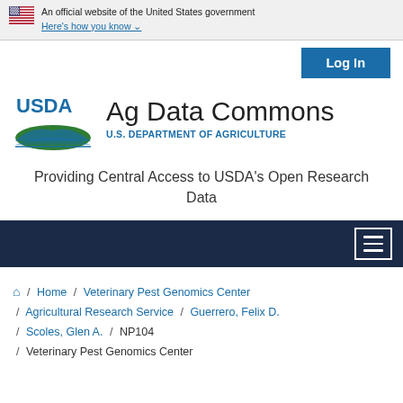An official website of the United States government Here's how you know
[Figure (logo): USDA Ag Data Commons logo with US Department of Agriculture text and Log In button]
Providing Central Access to USDA's Open Research Data
Navigation menu toggle
Home / Veterinary Pest Genomics Center / Agricultural Research Service / Guerrero, Felix D. / Scoles, Glen A. / NP104 / Veterinary Pest Genomics Center